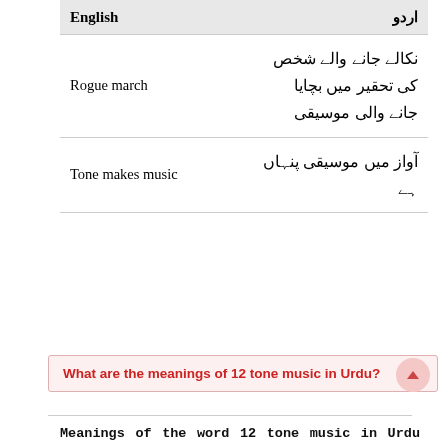| English | اردو |
| --- | --- |
| Rogue march | نکالے جانے والے شخص کی تحقیر میں بچایا جانے والی موسیقی |
| Tone makes music | آواز میں موسیقی پنہاں ہے |
What are the meanings of 12 tone music in Urdu?
Meanings of the word 12 tone music in Urdu are . To understand how would you translate the word 12 tone music in Urdu, you can take help from words closely related to 12 tone music or it's Urdu